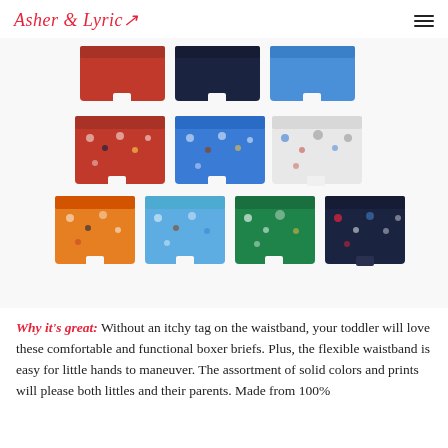Asher & Lyric
[Figure (photo): Product photo showing three rows of boys' boxer briefs: top row has solid red, navy, and blue; middle row has three patterned prints (red/blue/white with cartoon characters); bottom row has four patterned prints (orange, light blue, green, navy with various prints).]
Why it's great: Without an itchy tag on the waistband, your toddler will love these comfortable and functional boxer briefs. Plus, the flexible waistband is easy for little hands to maneuver. The assortment of solid colors and prints will please both littles and their parents. Made from 100%